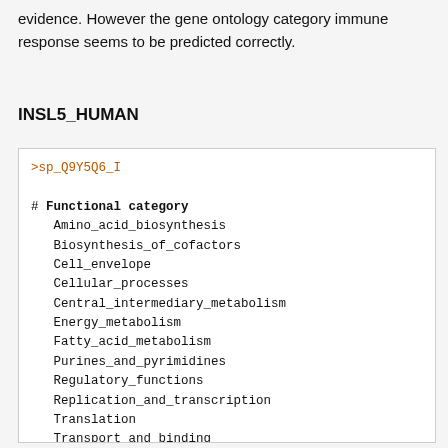evidence. However the gene ontology category immune response seems to be predicted correctly.
INSL5_HUMAN
>sp_Q9Y5Q6_I

# Functional category
   Amino_acid_biosynthesis
   Biosynthesis_of_cofactors
   Cell_envelope
   Cellular_processes
   Central_intermediary_metabolism
   Energy_metabolism
   Fatty_acid_metabolism
   Purines_and_pyrimidines
   Regulatory_functions
   Replication_and_transcription
   Translation
   Transport_and_binding

# Enzyme/nonenzyme
   Enzyme
   Nonenzyme

# Enzyme class
   Oxidoreductase (EC 1.-.-.-)
   Transferase    (EC 2.-.-,-)